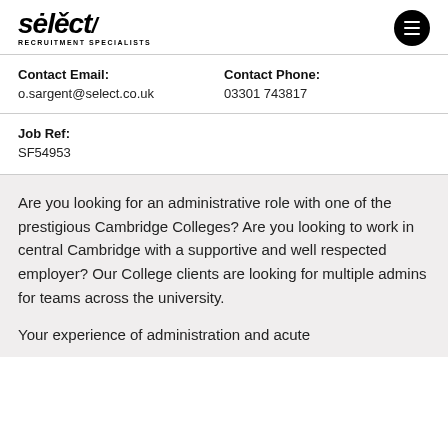select/ RECRUITMENT SPECIALISTS
| Contact Email: | Contact Phone: |
| --- | --- |
| o.sargent@select.co.uk | 03301 743817 |
| Job Ref: |
| --- |
| SF54953 |
Are you looking for an administrative role with one of the prestigious Cambridge Colleges? Are you looking to work in central Cambridge with a supportive and well respected employer? Our College clients are looking for multiple admins for teams across the university.
Your experience of administration and acute